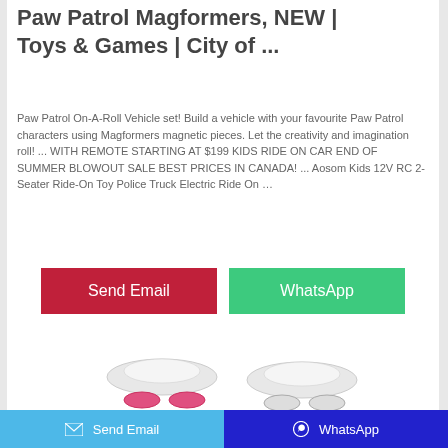Paw Patrol Magformers, NEW | Toys & Games | City of ...
Paw Patrol On-A-Roll Vehicle set! Build a vehicle with your favourite Paw Patrol characters using Magformers magnetic pieces. Let the creativity and imagination roll! ... WITH REMOTE STARTING AT $199 KIDS RIDE ON CAR END OF SUMMER BLOWOUT SALE BEST PRICES IN CANADA! ... Aosom Kids 12V RC 2-Seater Ride-On Toy Police Truck Electric Ride On …
[Figure (screenshot): Send Email and WhatsApp buttons in the middle of the page, and product images of ride-on toys at the bottom]
Send Email   WhatsApp